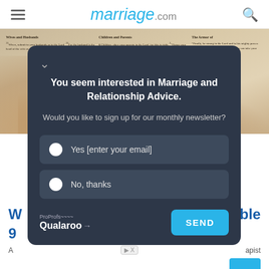marriage.com
[Figure (photo): Hands clasped together resting on an open Bible showing Wives and Husbands and Children and Parents sections]
You seem interested in Marriage and Relationship Advice. Would you like to sign up for our monthly newsletter?
Yes [enter your email]
No, thanks
ProProfs Qualaroo SEND